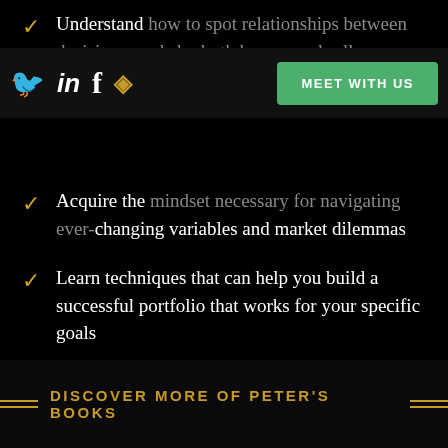Understand how to spot relationships between decisions made by both buyers and sellers
Acquire the mindset necessary for navigating ever-changing variables and market dilemmas
Learn techniques that can help you build a successful portfolio that works for your specific goals
AMAZON.COM
DISCOVER MORE OF PETER'S BOOKS